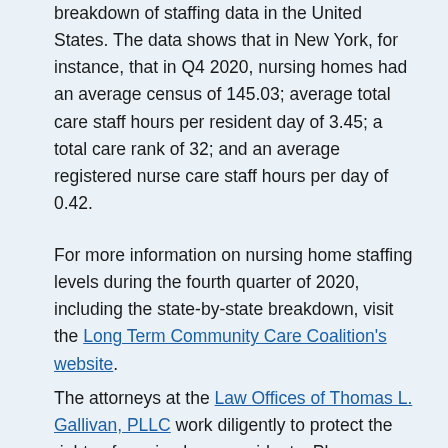breakdown of staffing data in the United States. The data shows that in New York, for instance, that in Q4 2020, nursing homes had an average census of 145.03; average total care staff hours per resident day of 3.45; a total care rank of 32; and an average registered nurse care staff hours per day of 0.42.
For more information on nursing home staffing levels during the fourth quarter of 2020, including the state-by-state breakdown, visit the Long Term Community Care Coalition's website.
The attorneys at the Law Offices of Thomas L. Gallivan, PLLC work diligently to protect the rights of nursing home residents. Please